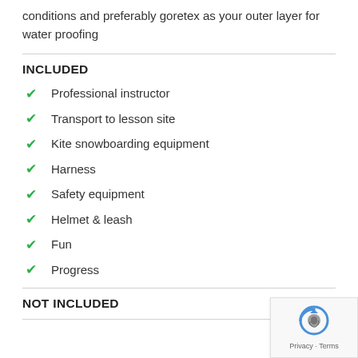conditions and preferably goretex as your outer layer for water proofing
INCLUDED
Professional instructor
Transport to lesson site
Kite snowboarding equipment
Harness
Safety equipment
Helmet & leash
Fun
Progress
NOT INCLUDED
[Figure (logo): reCAPTCHA badge with Privacy and Terms text]